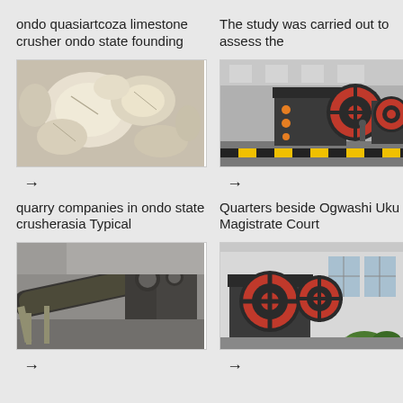ondo quasiartcoza limestone crusher ondo state founding
The study was carried out to assess the
[Figure (photo): Close-up of white/cream limestone rocks/chunks]
[Figure (photo): Industrial jaw crusher machine in a factory setting with red flywheel, black and yellow safety markings on floor]
→
→
quarry companies in ondo state crusherasia Typical
Quarters beside Ogwashi Uku Magistrate Court
[Figure (photo): Industrial conveyor belt with crusher machinery in a quarry/factory setting]
[Figure (photo): Jaw crusher machine with red flywheels outside a building with greenery]
→
→